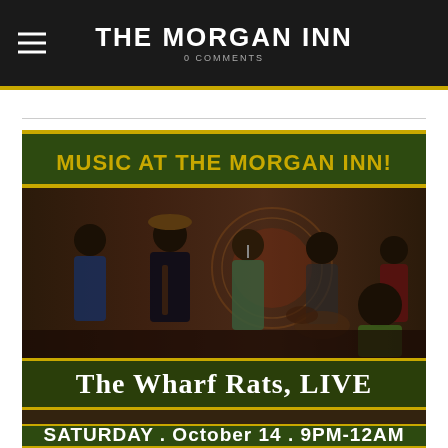THE MORGAN INN
0 COMMENTS
[Figure (infographic): Event poster for The Wharf Rats, LIVE at The Morgan Inn. Text: MUSIC AT THE MORGAN INN! / The Wharf Rats, LIVE / SATURDAY . October 14 . 9PM-12AM. Background shows band performing on stage in a bar setting with brick walls.]